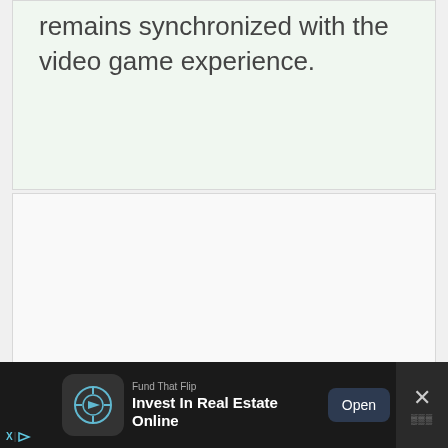remains synchronized with the video game experience.
[Figure (other): Empty white content area placeholder]
Fund That Flip
Invest In Real Estate Online
Open